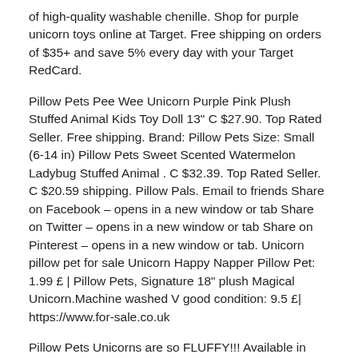of high-quality washable chenille. Shop for purple unicorn toys online at Target. Free shipping on orders of $35+ and save 5% every day with your Target RedCard.
Pillow Pets Pee Wee Unicorn Purple Pink Plush Stuffed Animal Kids Toy Doll 13" C $27.90. Top Rated Seller. Free shipping. Brand: Pillow Pets Size: Small (6-14 in) Pillow Pets Sweet Scented Watermelon Ladybug Stuffed Animal . C $32.39. Top Rated Seller. C $20.59 shipping. Pillow Pals. Email to friends Share on Facebook – opens in a new window or tab Share on Twitter – opens in a new window or tab Share on Pinterest – opens in a new window or tab. Unicorn pillow pet for sale Unicorn Happy Napper Pillow Pet: 1.99 £ | Pillow Pets, Signature 18" plush Magical Unicorn.Machine washed V good condition: 9.5 £| https://www.for-sale.co.uk
Pillow Pets Unicorns are so FLUFFY!!! Available in beautiful colors and styles with glittery stars and flowery patterns, they make the perfect addition to any little girl's room. Every Unicorn Pillow Pet comes with soft hair enabling hours of play fun. These adorable stuffed animals are a plush toy by day and open up to functional pillows by night. The Pillow Pets Magical Unicorn Plush 18"/Large delivers all the fun play of a Pillow Pet, and then turns into a comfortable 18-inch sized pillow for reading,